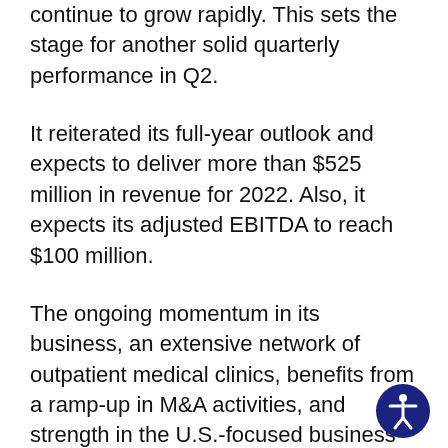continue to grow rapidly. This sets the stage for another solid quarterly performance in Q2.
It reiterated its full-year outlook and expects to deliver more than $525 million in revenue for 2022. Also, it expects its adjusted EBITDA to reach $100 million.
The ongoing momentum in its business, an extensive network of outpatient medical clinics, benefits from a ramp-up in M&A activities, and strength in the U.S.-focused business augur well for growth. Further, WELL Health expects to